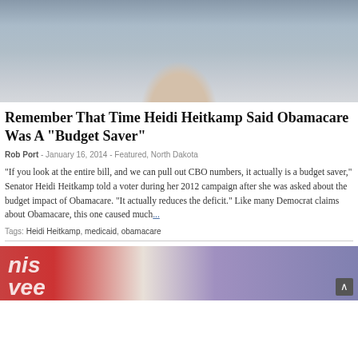[Figure (photo): Woman in gray blazer with teal necklace, seated at a desk with American flag in background]
Remember That Time Heidi Heitkamp Said Obamacare Was A "Budget Saver"
Rob Port - January 16, 2014 - Featured, North Dakota
“If you look at the entire bill, and we can pull out CBO numbers, it actually is a budget saver,” Senator Heidi Heitkamp told a voter during her 2012 campaign after she was asked about the budget impact of Obamacare. “It actually reduces the deficit.” Like many Democrat claims about Obamacare, this one caused much…
Tags: Heidi Heitkamp, medicaid, obamacare
[Figure (photo): Partial photo showing TV broadcast with 'This Week' text visible and a person with reddish hair, purple background]